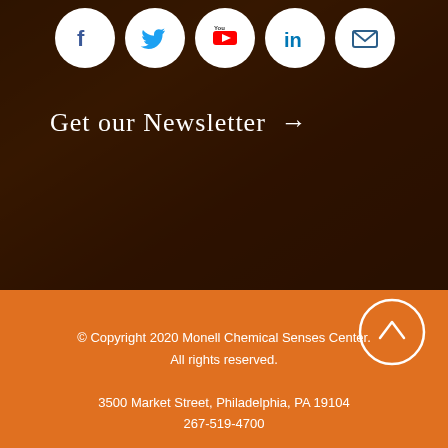[Figure (screenshot): Social media icons row: Facebook, Twitter, YouTube, LinkedIn, Email — white circles on dark background]
Get our Newsletter →
[Figure (photo): Dark-toned photo of a building exterior (Monell Chemical Senses Center building) at night/dusk]
© Copyright 2020 Monell Chemical Senses Center. All rights reserved.
3500 Market Street, Philadelphia, PA 19104
267-519-4700